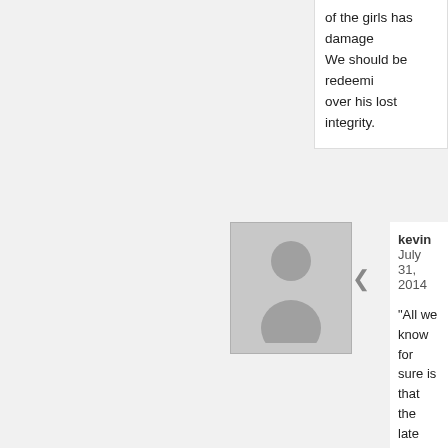of the girls has damaged... We should be redeeming over his lost integrity.
[Figure (photo): Gray avatar silhouette placeholder image]
kevin July 31, 2014
"All we know for sure is that the late night happened, at least not from the Smalley's
No, actually, you have confirmed that it d private office and not in his private cabin. she was wearing, 34 years later, despite sheer nightwear. He remembered what s writing. It is no big surprise that a person specifically recollected years earlier- men
This is not the "aha" moment that you se was engaging in behavior that he was tea hypocrite and should have been made to and fired others for just alleged flirtation, behavior way beyond what he publicly sh